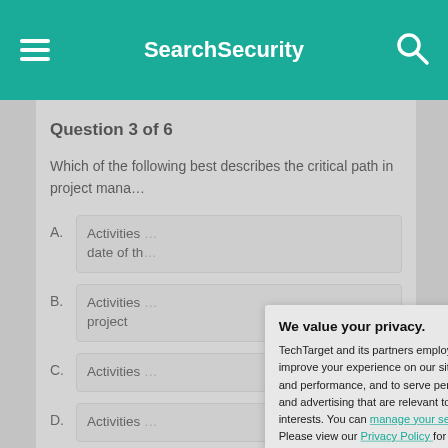SearchSecurity
Question 3 of 6
Which of the following best describes the critical path in project mana…
A. Activities … date of th…
B. Activities … project
C. Activities …
D. Activities …
We value your privacy. TechTarget and its partners employ cookies to improve your experience on our site, to analyze traffic and performance, and to serve personalized content and advertising that are relevant to your professional interests. You can manage your settings at any time. Please view our Privacy Policy for more information